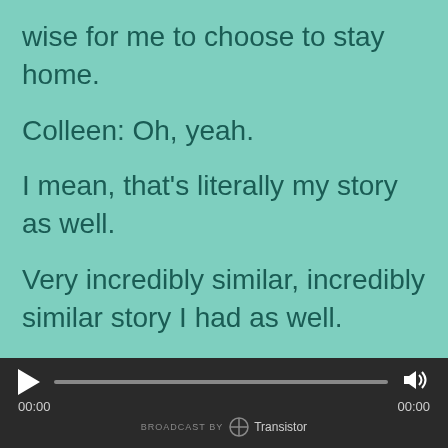wise for me to choose to stay home.
Colleen: Oh, yeah.
I mean, that's literally my story as well.
Very incredibly similar, incredibly similar story I had as well.
I did the whole trying to have a baby at home and work part time,
then work full-time then work part-time then I had another child
[Figure (screenshot): Podcast audio player bar at the bottom with play button, progress bar, volume icon, timestamps 00:00 on both sides, and 'BROADCAST BY Transistor' branding]